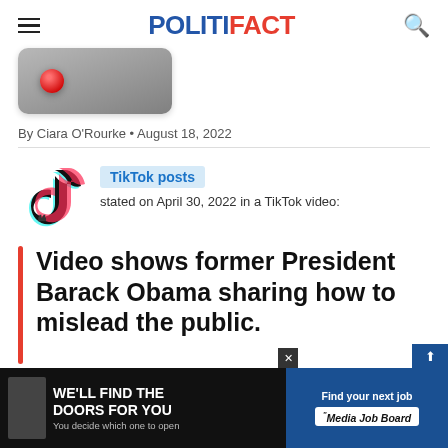POLITIFACT
[Figure (photo): Partial image of a gray device with a red record button, cropped at top of page]
By Ciara O'Rourke • August 18, 2022
[Figure (logo): TikTok logo — music note icon with cyan and red accents, with quotation mark icon below]
TikTok posts stated on April 30, 2022 in a TikTok video:
Video shows former President Barack Obama sharing how to mislead the public.
[Figure (infographic): Advertisement banner: 'WE'LL FIND THE DOORS FOR YOU — You decide which one to open' on left, 'Find your next job — Media Job Board' on right]